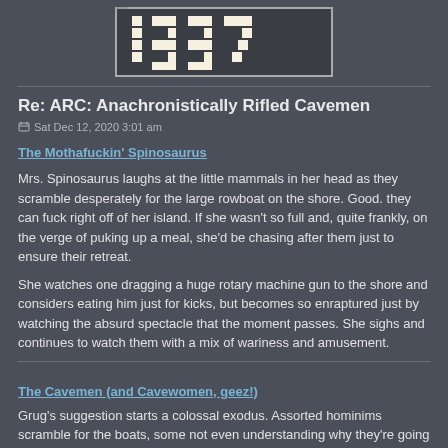[Figure (logo): 1337 logo in blocky pixel-style white text on dark background]
Re: ARC: Anachronistically Rifled Cavemen
Sat Dec 12, 2020 3:01 am
The Mothafuckin' Spinosaurus
Mrs. Spinosaurus laughs at the little mammals in her head as they scramble desperately for the large rowboat on the shore. Good. they can fuck right off of her island. If she wasn't so full and, quite frankly, on the verge of puking up a meal, she'd be chasing after them just to ensure their retreat.
She watches one dragging a huge rotary machine gun to the shore and considers eating him just for kicks, but becomes so enraptured just by watching the absurd spectacle that the moment passes. She sighs and continues to watch them with a mix of wariness and amusement.
The Cavemen (and Cavewomen, geez!)
Grug's suggestion starts a colossal exodus. Assorted hominims scramble for the boats, some not even understanding why they're going bu doing